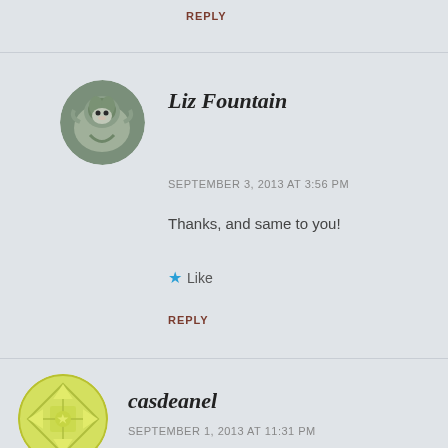REPLY
[Figure (photo): Circular avatar photo of Liz Fountain showing a dog outdoors]
Liz Fountain
SEPTEMBER 3, 2013 AT 3:56 PM
Thanks, and same to you!
★ Like
REPLY
[Figure (illustration): Circular avatar with yellow/green decorative pattern for casdeanel]
casdeanel
SEPTEMBER 1, 2013 AT 11:31 PM